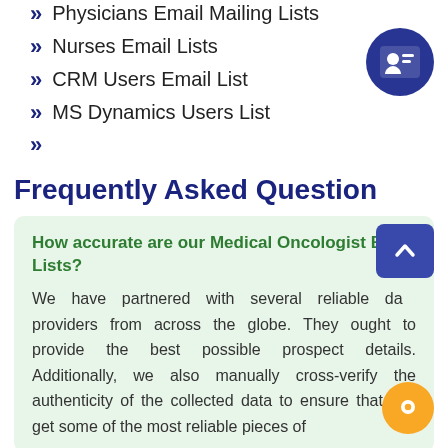Physicians Email Mailing Lists
Nurses Email Lists
CRM Users Email List
MS Dynamics Users List
Frequently Asked Questions
How accurate are our Medical Oncologist Email Lists?
We have partnered with several reliable data providers from across the globe. They ought to provide the best possible prospect details. Additionally, we also manually cross-verify the authenticity of the collected data to ensure that you get some of the most reliable pieces of